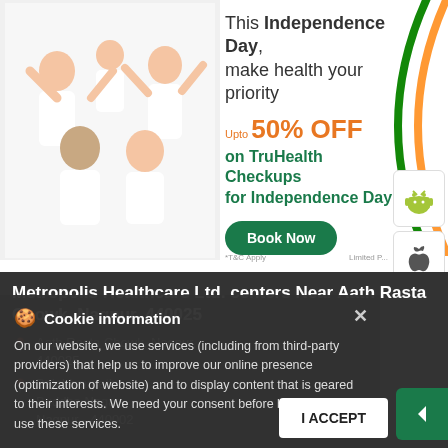[Figure (illustration): Family photo with adults and children sitting together with arms raised, white background, tricolor arc overlay]
This Independence Day, make health your priority
Upto 50% OFF on TruHealth Checkups for Independence Day
Book Now
*T&C Apply
Limited P...
[Figure (logo): Android app badge icon]
[Figure (logo): Apple app badge icon]
Metropolis Healthcare Ltd. centers Near Aath Rasta Chowk, Nagpur, 440025
Aath Rasta Chowk, Nagpur, 440025
Balabhaupeth Buddha Nagar Nagpur - 440002
Cookie information
On our website, we use services (including from third-party providers) that help us to improve our online presence (optimization of website) and to display content that is geared to their interests. We need your consent before being able to use these services.
I ACCEPT